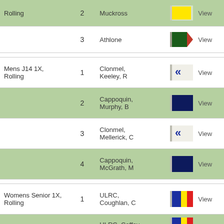| Event | Place | Club/Athlete | Flag | Action |
| --- | --- | --- | --- | --- |
| Rolling | 2 | Muckross |  | View |
|  | 3 | Athlone |  | View |
| Mens J14 1X, Rolling | 1 | Clonmel, Keeley, R |  | View |
|  | 2 | Cappoquin, Murphy, B |  | View |
|  | 3 | Clonmel, Mellerick, C |  | View |
|  | 4 | Cappoquin, McGrath, M |  | View |
| Womens Senior 1X, Rolling | 1 | ULRC, Coughlan, C |  | View |
|  | 2 | ULRC, Coffey, |  | View |